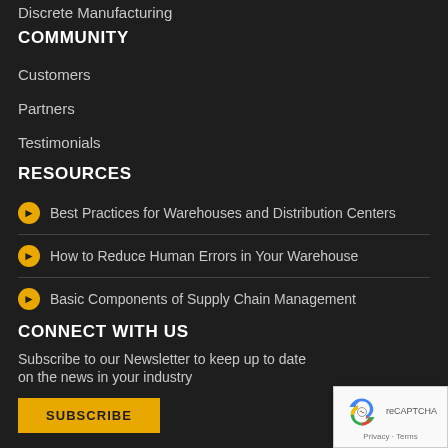Discrete Manufacturing
COMMUNITY
Customers
Partners
Testimonials
RESOURCES
Best Practices for Warehouses and Distribution Centers
How to Reduce Human Errors in Your Warehouse
Basic Components of Supply Chain Management
CONNECT WITH US
Subscribe to our Newsletter to keep up to date on the news in your industry
SUBSCRIBE